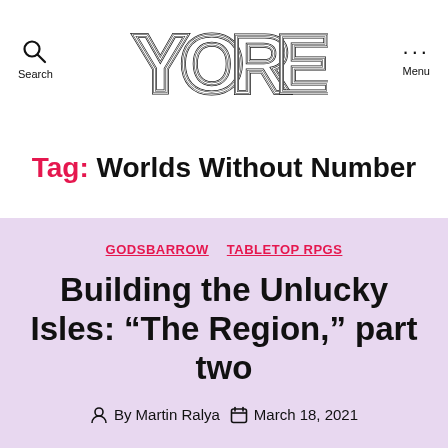Search | YORE | Menu
Tag: Worlds Without Number
GODSBARROW  TABLETOP RPGS
Building the Unlucky Isles: “The Region,” part two
By Martin Ralya  March 18, 2021